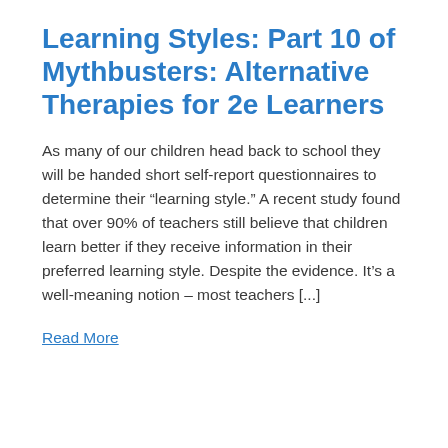Learning Styles: Part 10 of Mythbusters: Alternative Therapies for 2e Learners
As many of our children head back to school they will be handed short self-report questionnaires to determine their “learning style.” A recent study found that over 90% of teachers still believe that children learn better if they receive information in their preferred learning style. Despite the evidence. It’s a well-meaning notion – most teachers [...]
Read More